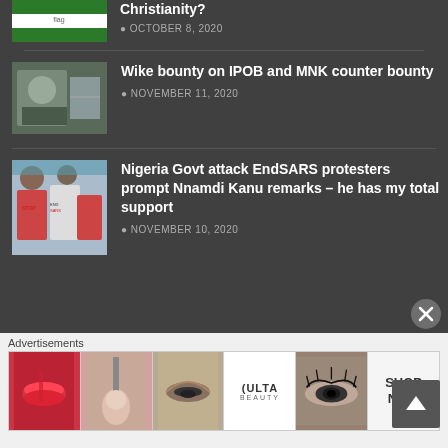[Figure (photo): Partial article thumbnail showing Nigerian flag colors (green/white/green) at top left]
Christianity?
OCTOBER 8, 2020
[Figure (photo): Photo of a man in gray shirt speaking at a podium or microphone]
Wike bounty on IPOB and MNK counter bounty
NOVEMBER 11, 2020
[Figure (photo): Photo of EndSARS protesters holding signs]
Nigeria Govt attack EndSARS protesters prompt Nnamdi Kanu remarks – he has my total support
NOVEMBER 10, 2020
Advertisements
[Figure (photo): Ulta Beauty advertisement banner showing makeup/cosmetics images with SHOP NOW text]